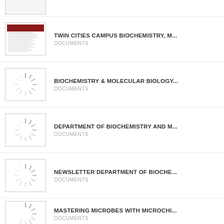(partial item at top)
TWIN CITIES CAMPUS BIOCHEMISTRY, M... - DOCUMENTS
BIOCHEMISTRY & MOLECULAR BIOLOGY... - DOCUMENTS
DEPARTMENT OF BIOCHEMISTRY AND M... - DOCUMENTS
NEWSLETTER DEPARTMENT OF BIOCHE... - DOCUMENTS
MASTERING MICROBES WITH MICROCHI... - DOCUMENTS